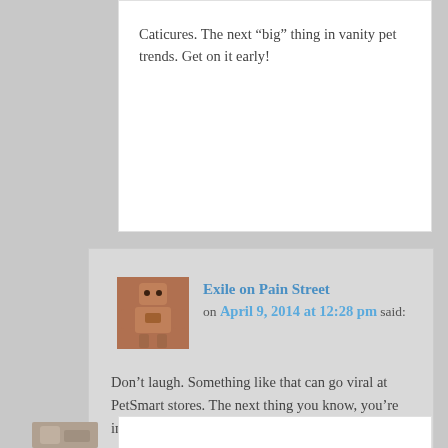Caticures. The next “big” thing in vanity pet trends. Get on it early!
Exile on Pain Street on April 9, 2014 at 12:28 pm said:
Don’t laugh. Something like that can go viral at PetSmart stores. The next thing you know, you’re in Tahiti sipping Mai Tais.